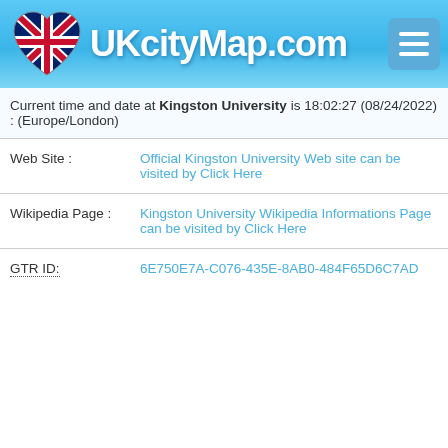UKcityMap.com
Current time and date at Kingston University is 18:02:27 (08/24/2022) : (Europe/London)
| Web Site : | Official Kingston University Web site can be visited by Click Here |
| Wikipedia Page : | Kingston University Wikipedia Informations Page can be visited by Click Here |
| GTR ID: | 6E750E7A-C076-435E-8AB0-484F65D6C7AD |